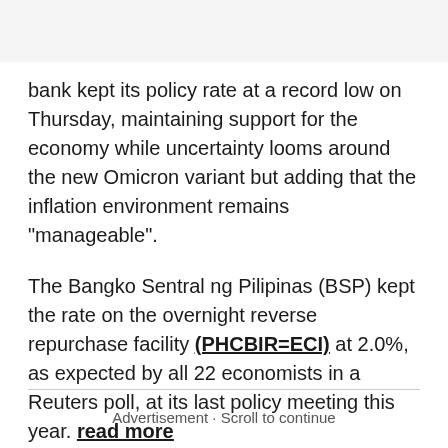bank kept its policy rate at a record low on Thursday, maintaining support for the economy while uncertainty looms around the new Omicron variant but adding that the inflation environment remains "manageable".
The Bangko Sentral ng Pilipinas (BSP) kept the rate on the overnight reverse repurchase facility (PHCBIR=ECI) at 2.0%, as expected by all 22 economists in a Reuters poll, at its last policy meeting this year. read more
Advertisement · Scroll to continue